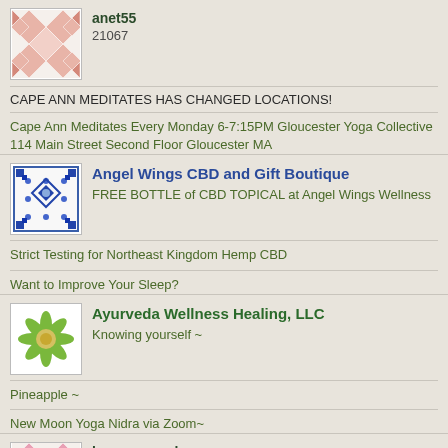[Figure (illustration): Quilt-pattern avatar for anet55, pink and white diamond pattern]
anet55
21067
CAPE ANN MEDITATES HAS CHANGED LOCATIONS!
Cape Ann Meditates Every Monday 6-7:15PM Gloucester Yoga Collective 114 Main Street Second Floor Gloucester MA
[Figure (illustration): Angel Wings CBD logo with blue diamond grid pattern]
Angel Wings CBD and Gift Boutique
FREE BOTTLE of CBD TOPICAL at Angel Wings Wellness
Strict Testing for Northeast Kingdom Hemp CBD
Want to Improve Your Sleep?
[Figure (illustration): Green lotus flower logo for Ayurveda Wellness Healing LLC]
Ayurveda Wellness Healing, LLC
Knowing yourself ~
Pineapple ~
New Moon Yoga Nidra via Zoom~
[Figure (illustration): Quilt-pattern avatar for bonesmarvels, pink and white diamond pattern]
bonesmarvels